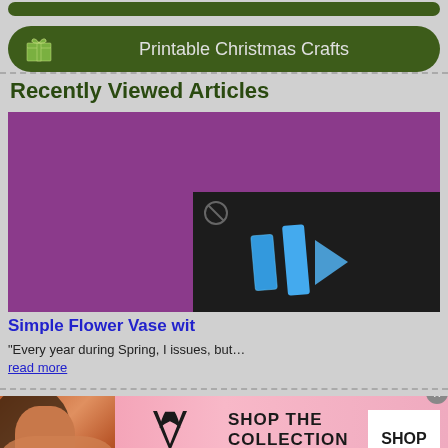[Figure (screenshot): Dark green rounded navigation bar at top (partially visible)]
[Figure (screenshot): Dark green rounded button with gift icon and text 'Printable Christmas Crafts']
Recently Viewed Articles
[Figure (screenshot): Purple/magenta image background with overlaid video player showing blue angular logo on dark background, muted icon, and watermark text 'TANNER BELL - ALITTLECRAFTINYOURDAY.COM']
Simple Flower Vase wit...
"Every year during Spring, I issues, but... read more
[Figure (screenshot): Victoria's Secret advertisement banner with model, VS logo, 'SHOP THE COLLECTION' text, and 'SHOP NOW' button]